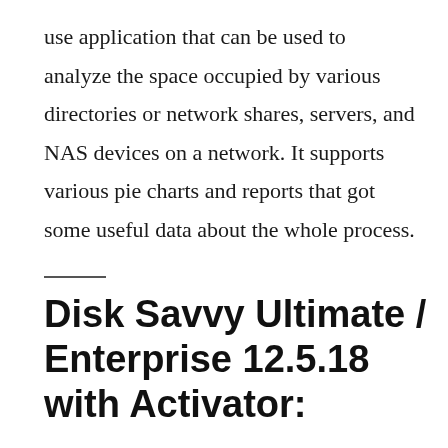use application that can be used to analyze the space occupied by various directories or network shares, servers, and NAS devices on a network. It supports various pie charts and reports that got some useful data about the whole process.
Disk Savvy Ultimate / Enterprise 12.5.18 with Activator: